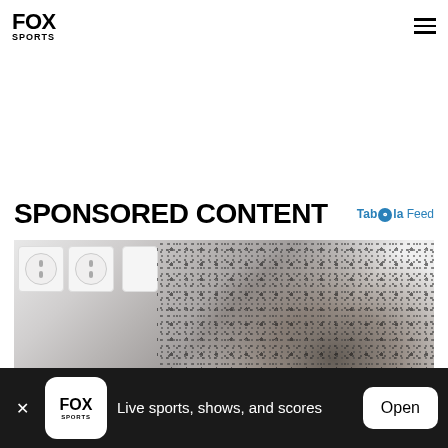FOX SPORTS
SPONSORED CONTENT
Taboola Feed
[Figure (photo): Photo showing wall electrical outlets/sockets with black mold growing on the wall surface below and around them]
Live sports, shows, and scores
Open